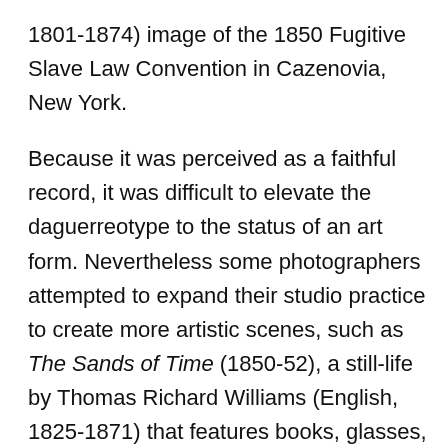1801-1874) image of the 1850 Fugitive Slave Law Convention in Cazenovia, New York.
Because it was perceived as a faithful record, it was difficult to elevate the daguerreotype to the status of an art form. Nevertheless some photographers attempted to expand their studio practice to create more artistic scenes, such as The Sands of Time (1850-52), a still-life by Thomas Richard Williams (English, 1825-1871) that features books, glasses, an hourglass, and a human skull. Daguerreotypes were sometimes used for scientific experimentation, as is the case with Antoine Claudet, who used the medium as an instrument to measure focal distance.
The exhibition also features a selection of distinctive daguerreotype cases – wrapped in leather or decorated